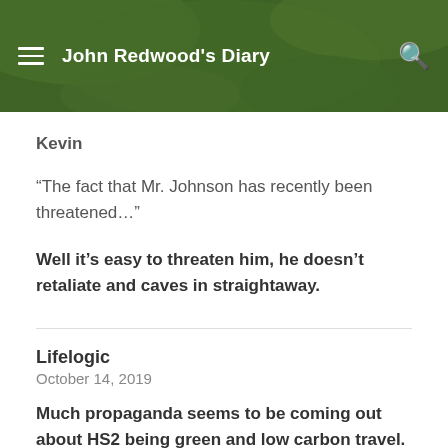John Redwood's Diary
Kevin
“The fact that Mr. Johnson has recently been threatened…”
Well it’s easy to threaten him, he doesn’t retaliate and caves in straightaway.
Lifelogic
October 14, 2019
Much propaganda seems to be coming out about HS2 being green and low carbon travel. Complete and utter drivel and propaganda lies. If you look at the carbon cost of building it,